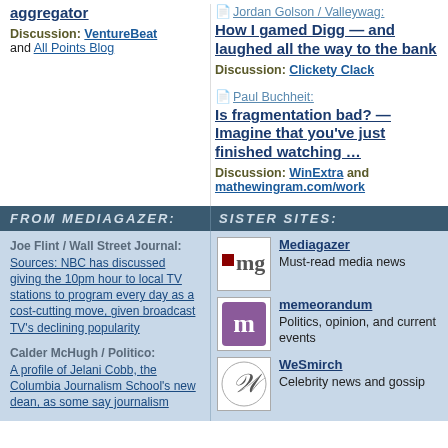aggregator
Discussion: VentureBeat and All Points Blog
Jordan Golson / Valleywag: How I gamed Digg — and laughed all the way to the bank
Discussion: Clickety Clack
Paul Buchheit: Is fragmentation bad? — Imagine that you've just finished watching …
Discussion: WinExtra and mathewingram.com/work
FROM MEDIAGAZER:
SISTER SITES:
Joe Flint / Wall Street Journal: Sources: NBC has discussed giving the 10pm hour to local TV stations to program every day as a cost-cutting move, given broadcast TV's declining popularity
Calder McHugh / Politico: A profile of Jelani Cobb, the Columbia Journalism School's new dean, as some say journalism
Mediagazer - Must-read media news
memeorandum - Politics, opinion, and current events
WeSmirch - Celebrity news and gossip